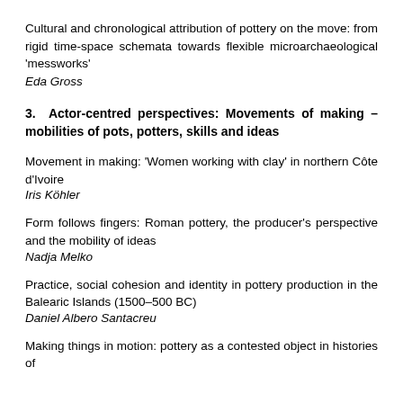Cultural and chronological attribution of pottery on the move: from rigid time-space schemata towards flexible microarchaeological 'messworks'
Eda Gross
3.  Actor-centred perspectives: Movements of making – mobilities of pots, potters, skills and ideas
Movement in making: 'Women working with clay' in northern Côte d'Ivoire
Iris Köhler
Form follows fingers: Roman pottery, the producer's perspective and the mobility of ideas
Nadja Melko
Practice, social cohesion and identity in pottery production in the Balearic Islands (1500–500 BC)
Daniel Albero Santacreu
Making things in motion: pottery as a contested object in histories of